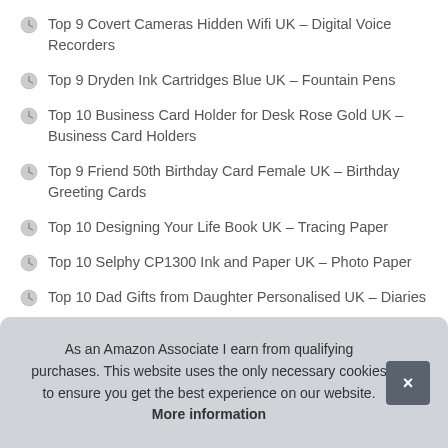Top 9 Covert Cameras Hidden Wifi UK – Digital Voice Recorders
Top 9 Dryden Ink Cartridges Blue UK – Fountain Pens
Top 10 Business Card Holder for Desk Rose Gold UK – Business Card Holders
Top 9 Friend 50th Birthday Card Female UK – Birthday Greeting Cards
Top 10 Designing Your Life Book UK – Tracing Paper
Top 10 Selphy CP1300 Ink and Paper UK – Photo Paper
Top 10 Dad Gifts from Daughter Personalised UK – Diaries
As an Amazon Associate I earn from qualifying purchases. This website uses the only necessary cookies to ensure you get the best experience on our website. More information